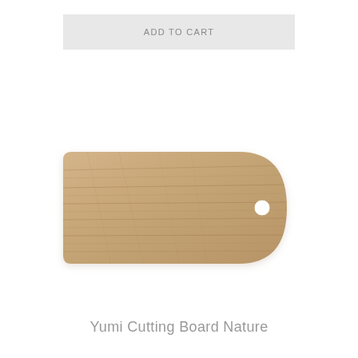ADD TO CART
[Figure (photo): A wooden cutting board (Yumi Cutting Board Nature) with a tag shape — rectangular body with rounded right end and a small circular hole near the rounded end. The wood has a light natural oak finish with visible grain texture.]
Yumi Cutting Board Nature